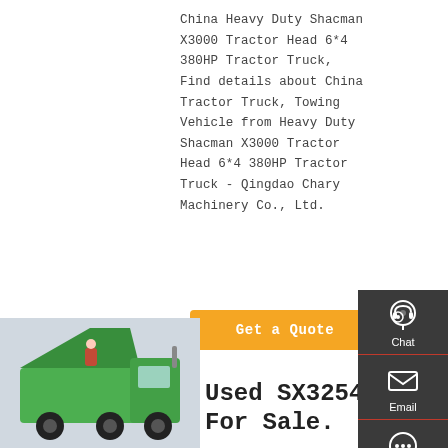China Heavy Duty Shacman X3000 Tractor Head 6*4 380HP Tractor Truck, Find details about China Tractor Truck, Towing Vehicle from Heavy Duty Shacman X3000 Tractor Head 6*4 380HP Tractor Truck - Qingdao Chary Machinery Co., Ltd.
Get a Quote
[Figure (photo): Green dump truck photo in lower left corner]
Used SX3254JS384 For Sale.